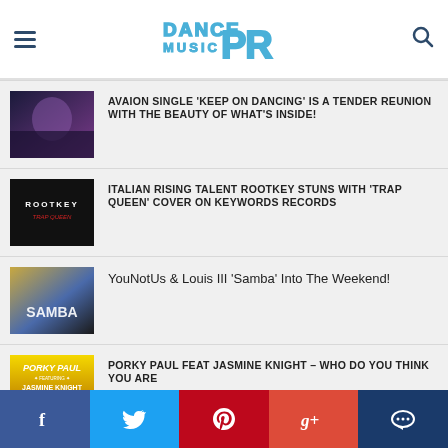Dance Music PR
AVAION SINGLE 'KEEP ON DANCING' IS A TENDER REUNION WITH THE BEAUTY OF WHAT'S INSIDE!
ITALIAN RISING TALENT ROOTKEY STUNS WITH 'TRAP QUEEN' COVER ON KEYWORDS RECORDS
YouNotUs & Louis III 'Samba' Into The Weekend!
PORKY PAUL FEAT JASMINE KNIGHT – WHO DO YOU THINK YOU ARE
f  Twitter  Pinterest  g+  Comment